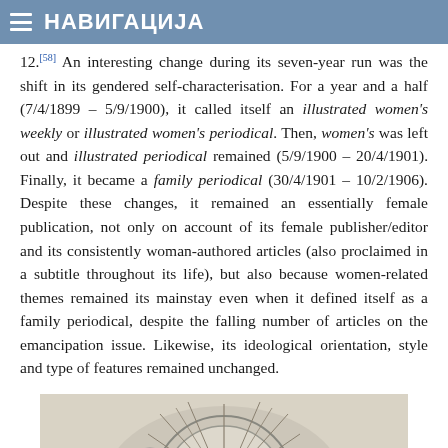НАВИГАЦИЈА
12.[58] An interesting change during its seven-year run was the shift in its gendered self-characterisation. For a year and a half (7/4/1899 – 5/9/1900), it called itself an illustrated women's weekly or illustrated women's periodical. Then, women's was left out and illustrated periodical remained (5/9/1900 – 20/4/1901). Finally, it became a family periodical (30/4/1901 – 10/2/1906). Despite these changes, it remained an essentially female publication, not only on account of its female publisher/editor and its consistently woman-authored articles (also proclaimed in a subtitle throughout its life), but also because women-related themes remained its mainstay even when it defined itself as a family periodical, despite the falling number of articles on the emancipation issue. Likewise, its ideological orientation, style and type of features remained unchanged.
[Figure (illustration): Partial view of a decorative circular emblem or medallion with radiating lines, shown at the bottom of the page, cropped.]